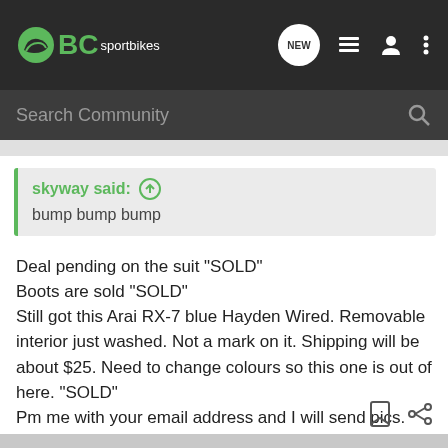BC sportbikes
Search Community
skyway said: ↑
bump bump bump
Deal pending on the suit "SOLD"
Boots are sold "SOLD"
Still got this Arai RX-7 blue Hayden Wired. Removable interior just washed. Not a mark on it. Shipping will be about $25. Need to change colours so this one is out of here. "SOLD"
Pm me with your email address and I will send pics.
Skyway